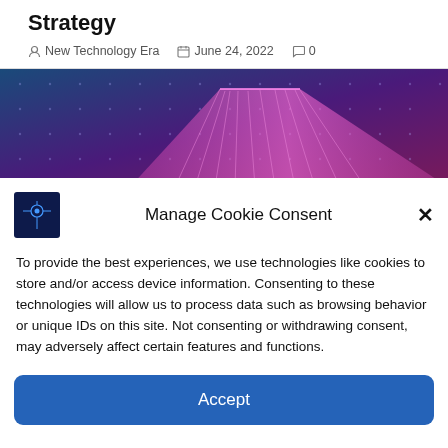Strategy
New Technology Era   June 24, 2022   0
[Figure (illustration): Abstract purple/blue digital bridge network with glowing grid lines and dot nodes on a dark blue-to-purple gradient background]
Manage Cookie Consent
To provide the best experiences, we use technologies like cookies to store and/or access device information. Consenting to these technologies will allow us to process data such as browsing behavior or unique IDs on this site. Not consenting or withdrawing consent, may adversely affect certain features and functions.
Accept